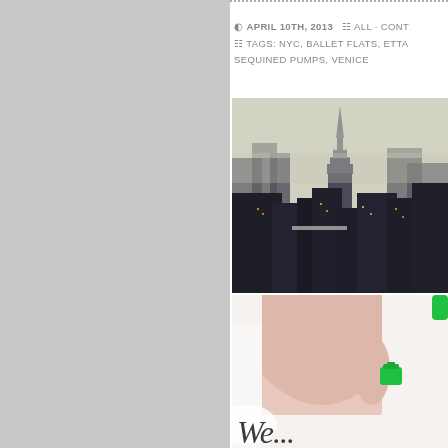[Figure (photo): Gray sidebar panel on left half of page]
APRIL 10TH, 2013  ☰  ALL · CONT...  ☰  TAGS: NYC, BALLET FLATS, ETTA... SEQUINED PUMPS, VENICE
[Figure (photo): NYC skyline photo with Chrysler Building visible through misty haze, dark buildings in foreground]
[Figure (photo): Fashion photo showing person in pink coat holding small green bag, with stylized cursive text 'We...' overlaid at bottom]